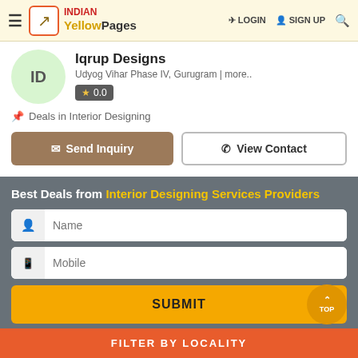INDIAN Yellow Pages | LOGIN | SIGN UP
Iqrup Designs
Udyog Vihar Phase IV, Gurugram | more..
0.0
Deals in Interior Designing
Send Inquiry
View Contact
Best Deals from Interior Designing Services Providers
Name
Mobile
SUBMIT
FILTER BY LOCALITY